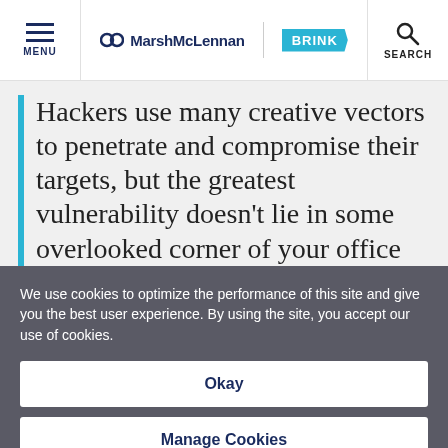MENU | MarshMcLennan BRINK | SEARCH
Hackers use many creative vectors to penetrate and compromise their targets, but the greatest vulnerability doesn't lie in some overlooked corner of your office environment. It's hidden in plain sight as the front door of your organization: your
We use cookies to optimize the performance of this site and give you the best user experience. By using the site, you accept our use of cookies.
Okay
Manage Cookies